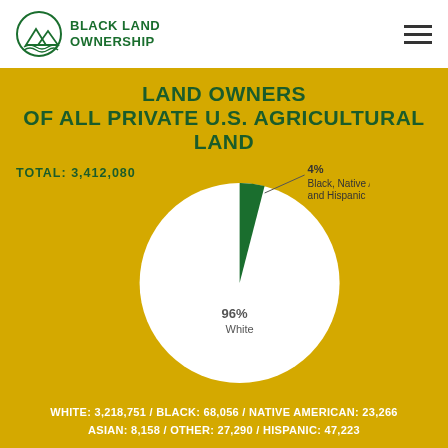Black Land Ownership
LAND OWNERS OF ALL PRIVATE U.S. AGRICULTURAL LAND
TOTAL: 3,412,080
[Figure (pie-chart): Land Owners of All Private U.S. Agricultural Land]
WHITE: 3,218,751 / BLACK: 68,056 / NATIVE AMERICAN: 23,266 / ASIAN: 8,158 / OTHER: 27,290 / HISPANIC: 47,223